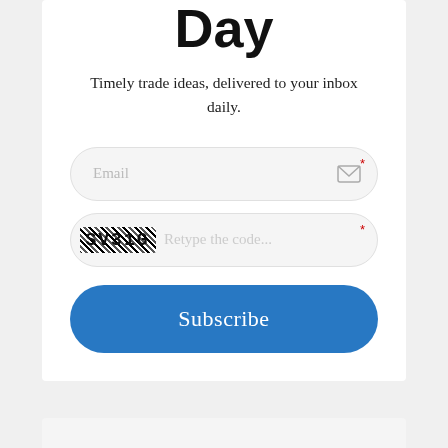Day
Timely trade ideas, delivered to your inbox daily.
[Figure (screenshot): Email subscription form with email input field, CAPTCHA code field showing 'SV31G', and a blue Subscribe button]